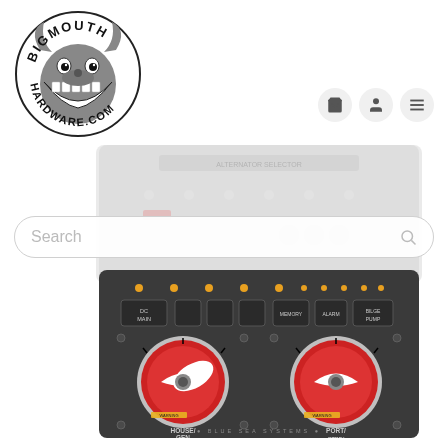[Figure (logo): Bigmouth Hardware.com logo — cartoon character with big mouth, circular badge logo in black and white]
[Figure (screenshot): Navigation icons: shopping cart, user account, and hamburger menu, each in a light gray circle button]
[Figure (other): Search bar with placeholder text 'Search' and a magnifying glass icon on the right]
[Figure (photo): Faded/ghosted top portion of a Blue Sea Systems marine DC electrical panel with toggle switches and indicators]
[Figure (photo): Blue Sea Systems marine electrical panel (bottom portion) showing dark gray metal panel with orange LED indicators, labeled circuit breakers (DC MAIN, MEMORY, ALARM, BILGE PUMP), two large red rotary battery selector switches labeled HOUSE/GEN and PORT/STBD/ENG, and Blue Sea Systems branding at bottom]